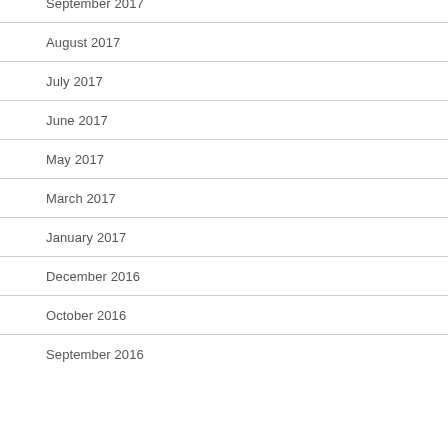September 2017
August 2017
July 2017
June 2017
May 2017
March 2017
January 2017
December 2016
October 2016
September 2016